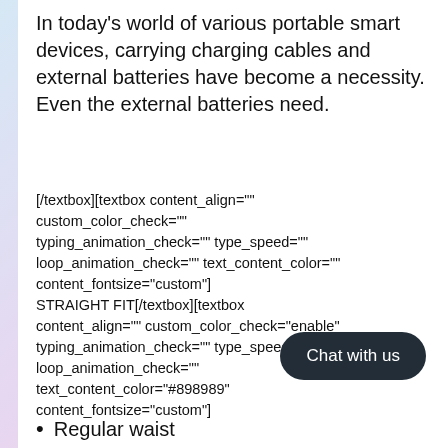In today's world of various portable smart devices, carrying charging cables and external batteries have become a necessity. Even the external batteries need.
[/textbox][textbox content_align="" custom_color_check="" typing_animation_check="" type_speed="" loop_animation_check="" text_content_color="" content_fontsize="custom"] STRAIGHT FIT[/textbox][textbox content_align="" custom_color_check="enable" typing_animation_check="" type_speed="" loop_animation_check="" text_content_color="#898989" content_fontsize="custom"]
Chat with us
Regular waist